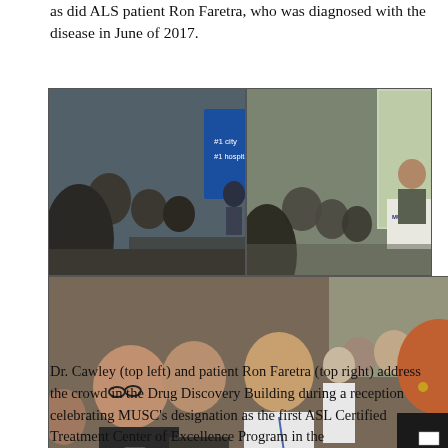as did ALS patient Ron Faretra, who was diagnosed with the disease in June of 2017.
[Figure (photo): Two rows of event photos. Top row: left photo shows a man speaking at a podium in front of a blue screen reading '#1 city #1 hospital' with an audience; right photo shows a bald man speaking at a podium with audience members watching. Bottom row: wide photo showing a group of smiling attendees including women in the foreground, some wearing lanyards and holding red cups.]
Dr. Cawley (top left) and patient Ron Faretra (top right) address the crowd in the Drug Discovery Building during a reception celebrating MUSC's designation as the first ASL Certified Treatment Center of Excellence Program in the